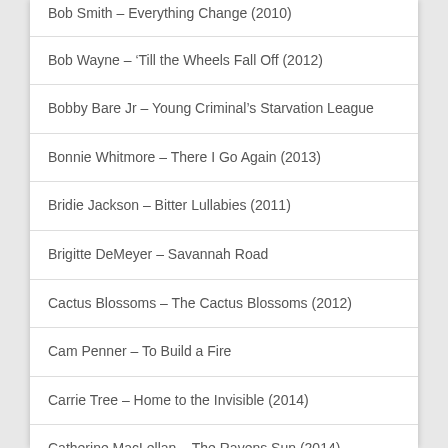Bob Smith – Everything Change (2010)
Bob Wayne – 'Till the Wheels Fall Off (2012)
Bobby Bare Jr – Young Criminal's Starvation League
Bonnie Whitmore – There I Go Again (2013)
Bridie Jackson – Bitter Lullabies (2011)
Brigitte DeMeyer – Savannah Road
Cactus Blossoms – The Cactus Blossoms (2012)
Cam Penner – To Build a Fire
Carrie Tree – Home to the Invisible (2014)
Catherine MacLellan – The Ravens Sun (2014)